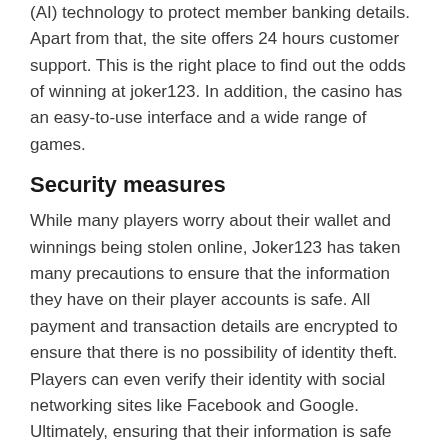(AI) technology to protect member banking details. Apart from that, the site offers 24 hours customer support. This is the right place to find out the odds of winning at joker123. In addition, the casino has an easy-to-use interface and a wide range of games.
Security measures
While many players worry about their wallet and winnings being stolen online, Joker123 has taken many precautions to ensure that the information they have on their player accounts is safe. All payment and transaction details are encrypted to ensure that there is no possibility of identity theft. Players can even verify their identity with social networking sites like Facebook and Google. Ultimately, ensuring that their information is safe and secure is vital to any online gambling experience.
Free spins